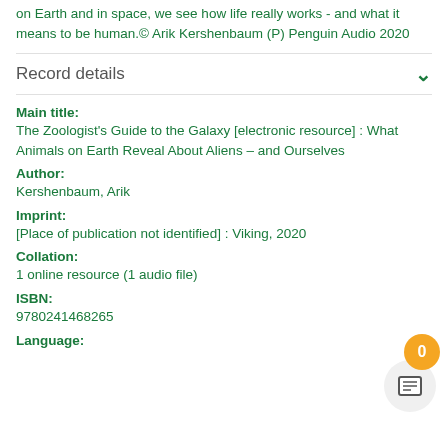on Earth and in space, we see how life really works - and what it means to be human.© Arik Kershenbaum (P) Penguin Audio 2020
Record details
Main title:
The Zoologist's Guide to the Galaxy [electronic resource] : What Animals on Earth Reveal About Aliens – and Ourselves
Author:
Kershenbaum, Arik
Imprint:
[Place of publication not identified] : Viking, 2020
Collation:
1 online resource (1 audio file)
ISBN:
9780241468265
Language: